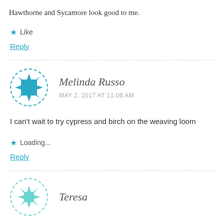Hawthorne and Sycamore look good to me.
Like
Reply
Melinda Russo
MAY 2, 2017 AT 11:06 AM
I can't wait to try cypress and birch on the weaving loom
Loading...
Reply
Teresa